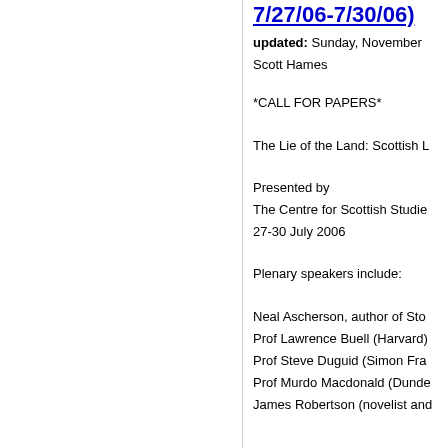7/27/06-7/30/06)
updated: Sunday, November
Scott Hames
*CALL FOR PAPERS*
The Lie of the Land: Scottish L
Presented by
The Centre for Scottish Studie
27-30 July 2006
Plenary speakers include:
Neal Ascherson, author of Sto
Prof Lawrence Buell (Harvard)
Prof Steve Duguid (Simon Fra
Prof Murdo Macdonald (Dunde
James Robertson (novelist and